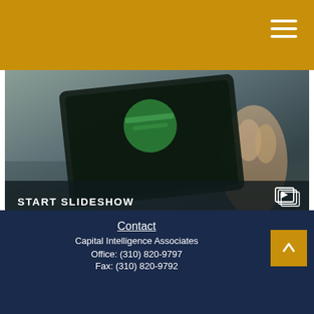[Figure (screenshot): A photo of a hand holding a tablet device with a green app icon, overlaid with 'START SLIDESHOW' text and a slideshow play icon in the bottom bar]
Your Cash Flow Statement
A presentation about managing money: using it, saving it, and even getting credit.
Contact
Capital Intelligence Associates
Office: (310) 820-9797
Fax: (310) 820-9792